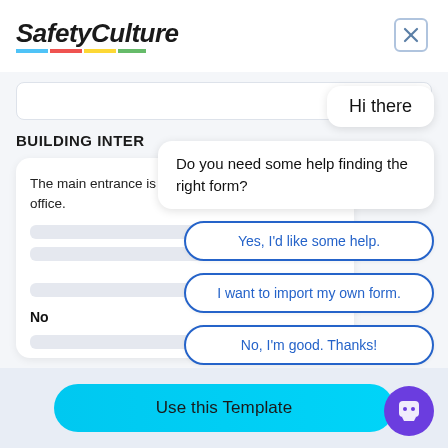[Figure (screenshot): SafetyCulture app logo with multicolor underline and close button (X) in top bar]
BUILDING INTER
The main entrance is obs office.
No
Hi there
Do you need some help finding the right form?
Yes, I'd like some help.
I want to import my own form.
No, I'm good. Thanks!
Use this Template